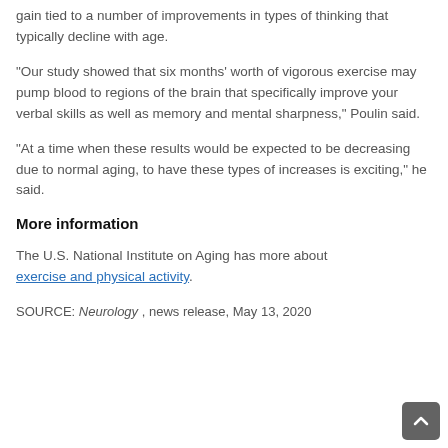gain tied to a number of improvements in types of thinking that typically decline with age.
"Our study showed that six months' worth of vigorous exercise may pump blood to regions of the brain that specifically improve your verbal skills as well as memory and mental sharpness," Poulin said.
"At a time when these results would be expected to be decreasing due to normal aging, to have these types of increases is exciting," he said.
More information
The U.S. National Institute on Aging has more about exercise and physical activity.
SOURCE: Neurology , news release, May 13, 2020